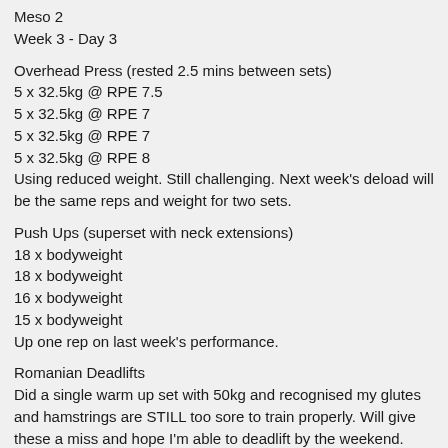Meso 2
Week 3 - Day 3
Overhead Press (rested 2.5 mins between sets)
5 x 32.5kg @ RPE 7.5
5 x 32.5kg @ RPE 7
5 x 32.5kg @ RPE 7
5 x 32.5kg @ RPE 8
Using reduced weight. Still challenging. Next week's deload will be the same reps and weight for two sets.
Push Ups (superset with neck extensions)
18 x bodyweight
18 x bodyweight
16 x bodyweight
15 x bodyweight
Up one rep on last week's performance.
Romanian Deadlifts
Did a single warm up set with 50kg and recognised my glutes and hamstrings are STILL too sore to train properly. Will give these a miss and hope I'm able to deadlift by the weekend.
Neck Extensions (superset with push ups)
16 x 6.25kg
16 x 6.25kg
15 x 6.25kg
Added two reps